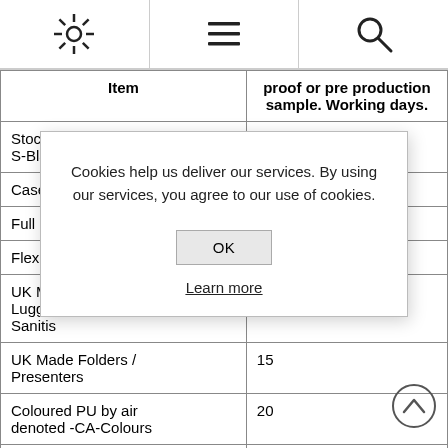[Settings icon] [Menu icon] [Search icon]
| Item | proof or pre production sample. Working days. |
| --- | --- |
| Stocked Items denoted by code -S-Black | 5 |
| Casebo[cut off] |  |
| Full Co[cut off] |  |
| Flexi B[cut off] |  |
| UK Ma[cut off] / Lugga[cut off] / Sanitis[cut off] |  |
| UK Made Folders / Presenters | 15 |
| Coloured PU by air denoted -CA-Colours | 20 |
| Coloured Leather by Air denoted -IA-Colours | 25 |
Cookies help us deliver our services. By using our services, you agree to our use of cookies.
OK
Learn more